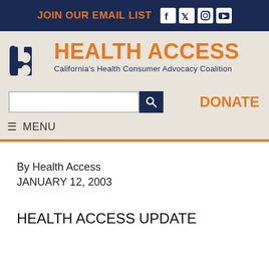JOIN OUR EMAIL LIST
[Figure (logo): Health Access California's Health Consumer Advocacy Coalition logo with stylized 'ha' icon in navy blue and orange text]
[Figure (screenshot): Search bar with navy blue search button icon]
DONATE
≡ MENU
By Health Access
JANUARY 12, 2003
HEALTH ACCESS UPDATE